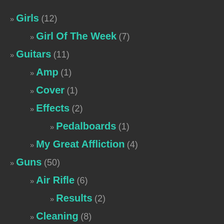» Girls (12)
» Girl Of The Week (7)
» Guitars (11)
» Amp (1)
» Cover (1)
» Effects (2)
» Pedalboards (1)
» My Great Affliction (4)
» Guns (50)
» Air Rifle (6)
» Results (2)
» Cleaning (8)
» Full Bore (15)
» Full-Auto (2)